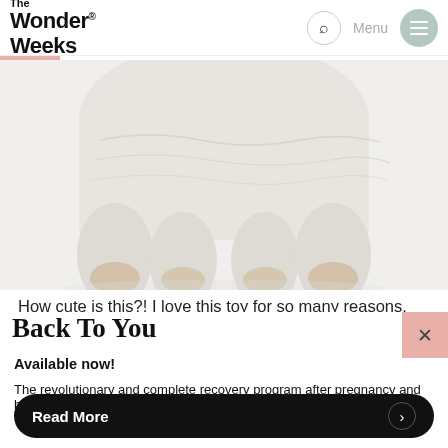The Wonder Weeks®
[Figure (photo): Close-up of the bottom of a white textured teething toy with four rounded legs/feet, showing slight tan/wood-colored tips at the bottom, on a white background.]
How cute is this?! I love this toy for so many reasons. This toy is completely non-toxic. Unlike other teething toys, it is
Back To You
Available now!
The revolutionary and complete recovery program after pregnancy and birth.
Read More